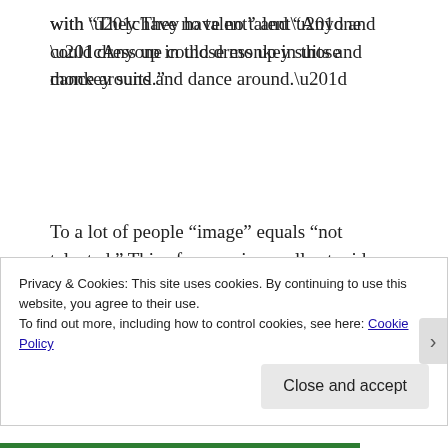with “They have no talent” and “Anyone could dress up in those monkey suits and dance around.”
To a lot of people “image” equals “not talented.” This of course is a really stupid thing to believe. I suppose David Bowie never made
Privacy & Cookies: This site uses cookies. By continuing to use this website, you agree to their use.
To find out more, including how to control cookies, see here: Cookie Policy
Close and accept